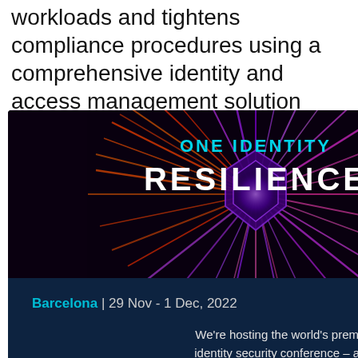workloads and tightens compliance procedures using a comprehensive identity and access management solution
Identity and access management (IAM) is often a challenge for organisations — often expensive processes. For a financial institution in Switzerland, IAM was a key challenge. The organisation lacked an a...
[Figure (screenshot): Modal popup advertisement for 'One Identity Resilience' conference with dark background, colorful burst graphic, teal/cyan text for 'ONE IDENTITY' and white bold text 'RESILIENCE'. Shows Barcelona | 29 Nov - 1 Dec, 2022. Text: We're hosting the world's premier identity security conference – and you're invited. Join us! Button: Attend in Barcelona]
ntity — ssistants – Opportunity?
ced the concept of lassic definition I've I provided a autonomous ly...